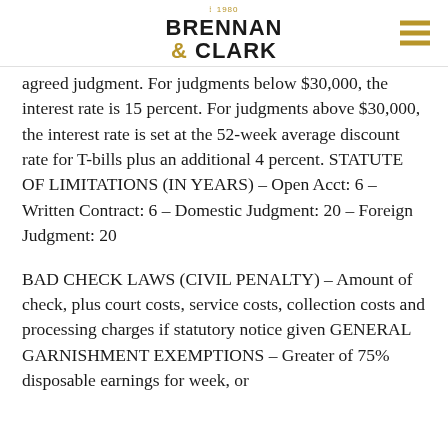est 1980 BRENNAN & CLARK
agreed judgment. For judgments below $30,000, the interest rate is 15 percent. For judgments above $30,000, the interest rate is set at the 52-week average discount rate for T-bills plus an additional 4 percent. STATUTE OF LIMITATIONS (IN YEARS) – Open Acct: 6 – Written Contract: 6 – Domestic Judgment: 20 – Foreign Judgment: 20
BAD CHECK LAWS (CIVIL PENALTY) – Amount of check, plus court costs, service costs, collection costs and processing charges if statutory notice given GENERAL GARNISHMENT EXEMPTIONS – Greater of 75% disposable earnings for week, or